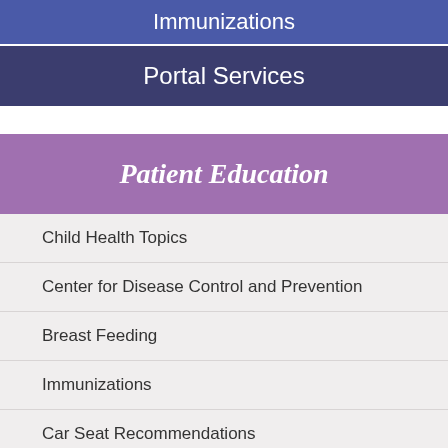Immunizations
Portal Services
Patient Education
Child Health Topics
Center for Disease Control and Prevention
Breast Feeding
Immunizations
Car Seat Recommendations
Product Recalls